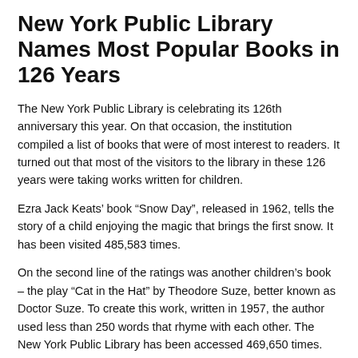New York Public Library Names Most Popular Books in 126 Years
The New York Public Library is celebrating its 126th anniversary this year. On that occasion, the institution compiled a list of books that were of most interest to readers. It turned out that most of the visitors to the library in these 126 years were taking works written for children.
Ezra Jack Keats’ book “Snow Day”, released in 1962, tells the story of a child enjoying the magic that brings the first snow. It has been visited 485,583 times.
On the second line of the ratings was another children’s book – the play “Cat in the Hat” by Theodore Suze, better known as Doctor Suze. To create this work, written in 1957, the author used less than 250 words that rhyme with each other. The New York Public Library has been accessed 469,650 times.
Like us on Facebook for more stories like this: